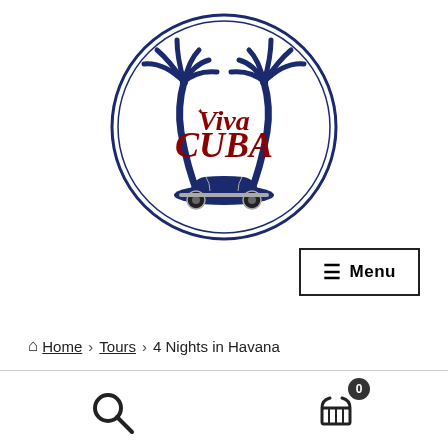[Figure (logo): Viva Cuba circular logo with two palm trees, a classic blue vintage car, and the text 'Viva CUBA' in red script on a navy blue and white circular badge]
≡ Menu
🏠 Home › Tours › 4 Nights in Havana
[Figure (other): Search icon (magnifying glass) and shopping cart icon with badge showing 0]